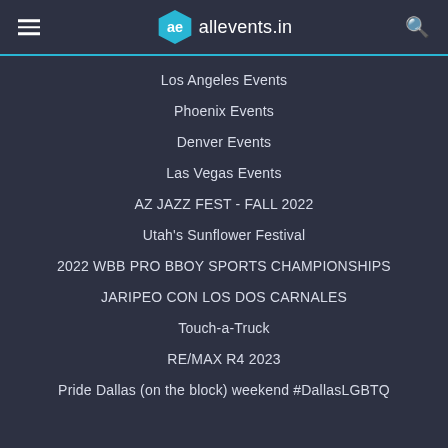allevents.in
Los Angeles Events
Phoenix Events
Denver Events
Las Vegas Events
AZ JAZZ FEST - FALL 2022
Utah's Sunflower Festival
2022 WBB PRO BBOY SPORTS CHAMPIONSHIPS
JARIPEO CON LOS DOS CARNALES
Touch-a-Truck
RE/MAX R4 2023
Pride Dallas (on the block) weekend #DallasLGBTQ